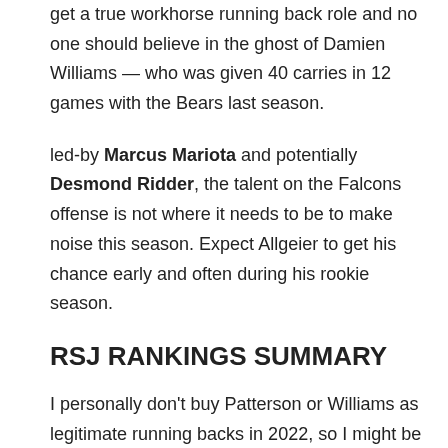get a true workhorse running back role and no one should believe in the ghost of Damien Williams — who was given 40 carries in 12 games with the Bears last season.
led-by Marcus Mariota and potentially Desmond Ridder, the talent on the Falcons offense is not where it needs to be to make noise this season. Expect Allgeier to get his chance early and often during his rookie season.
RSJ RANKINGS SUMMARY
I personally don't buy Patterson or Williams as legitimate running backs in 2022, so I might be higher on Allgeier than The Wolf and the other fantasy football experts. The former Cougar will bring toughness, quickness, and youthful upside to a very below-average depth chart, which should get him on the field relatively quickly.
"I think they want a north and south back who can make quick cuts